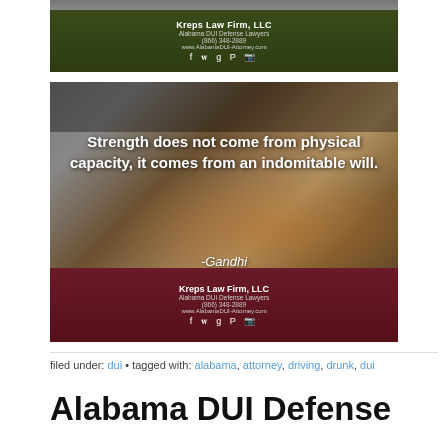[Figure (photo): Top cropped banner for Kreps Law Firm, LLC with dark olive green background showing firm name, subtitle Alabama DUI Defense Lawyers, phone (866) 348-2889, website www.AlabamaDUI-Attorney.com and social media icons]
[Figure (photo): Inspirational quote image with gavel and handcuffs in background. Text reads: Strength does not come from physical capacity, it comes from an indomitable will. -Gandhi. Bottom maroon banner with Kreps Law Firm LLC branding, Alabama DUI Defense Lawyers, (866) 348-2889, www.AlabamaDUI-Attorney.com and social media icons]
filed under: dui • tagged with: alabama, attorney, driving, drunk, dui
Alabama DUI Defense